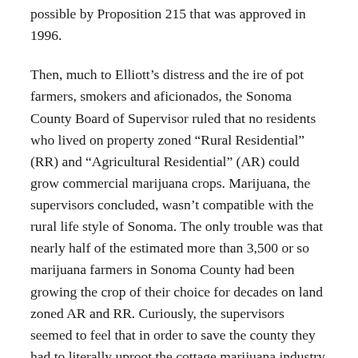possible by Proposition 215 that was approved in 1996.
Then, much to Elliott's distress and the ire of pot farmers, smokers and aficionados, the Sonoma County Board of Supervisor ruled that no residents who lived on property zoned “Rural Residential” (RR) and “Agricultural Residential” (AR) could grow commercial marijuana crops. Marijuana, the supervisors concluded, wasn’t compatible with the rural life style of Sonoma. The only trouble was that nearly half of the estimated more than 3,500 or so marijuana farmers in Sonoma County had been growing the crop of their choice for decades on land zoned AR and RR. Curiously, the supervisors seemed to feel that in order to save the county they had to literally uproot the cottage marijuana industry and thereby end a way of rural life in Sonoma. Their ruling send growers reeling.
Enter Brian Elliott, perhaps as unlikely an advocate for